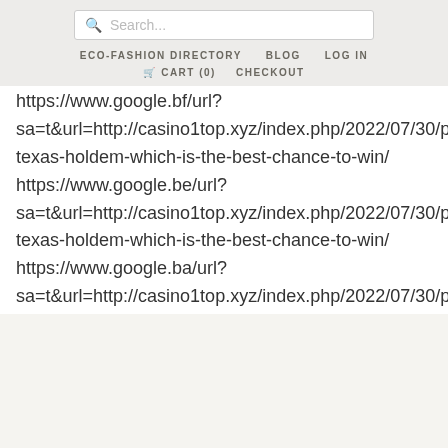[Figure (screenshot): Website header with search bar, navigation links (ECO-FASHION DIRECTORY, BLOG, LOG IN), and cart/checkout links]
https://www.google.bf/url?
sa=t&url=http://casino1top.xyz/index.php/2022/07/30/pa
texas-holdem-which-is-the-best-chance-to-win/
https://www.google.be/url?
sa=t&url=http://casino1top.xyz/index.php/2022/07/30/pa
texas-holdem-which-is-the-best-chance-to-win/
https://www.google.ba/url?
sa=t&url=http://casino1top.xyz/index.php/2022/07/30/pa
texas-holdem-which-is-the-best-chance-to-win/
https://www.google.az/url?
sa=t&url=http://casino1top.xyz/index.php/2022/07/30/pa
texas-holdem-which-is-the-best-chance-to-win/
https://www.google.at/url?
sa=t&url=http://casino1top.xyz/index.php/2022/07/30/pa